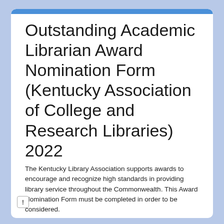Outstanding Academic Librarian Award Nomination Form (Kentucky Association of College and Research Libraries)   2022
The Kentucky Library Association supports awards to encourage and recognize high standards in providing library service throughout the Commonwealth. This Award Nomination Form must be completed in order to be considered.